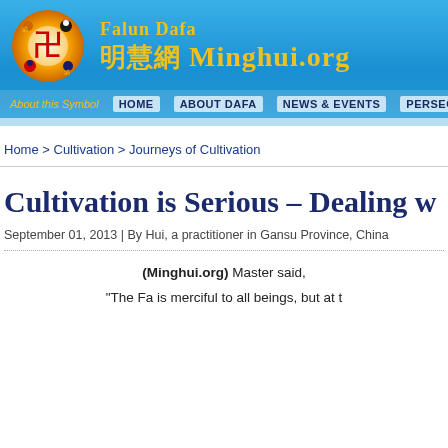[Figure (logo): Falun Dafa / Minghui.org website header banner with logo, Chinese characters, and navigation bar]
Home > Cultivation > Journeys of Cultivation
Cultivation is Serious – Dealing w...
September 01, 2013 | By Hui, a practitioner in Gansu Province, China
(Minghui.org) Master said,
“The Fa is merciful to all beings, but at t...
(“Fa Journal—September 2003 Lecture E...